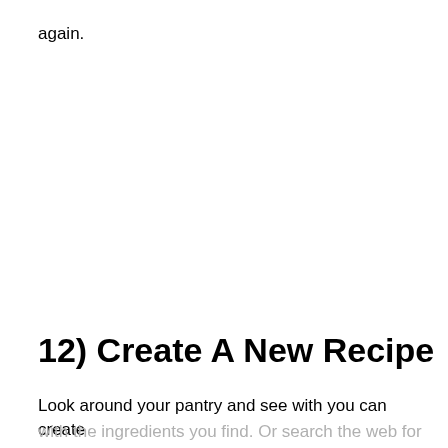again.
12) Create A New Recipe
Look around your pantry and see with you can create
with the ingredients you find. Or search the web for a recipe you've always wanted to make and create your